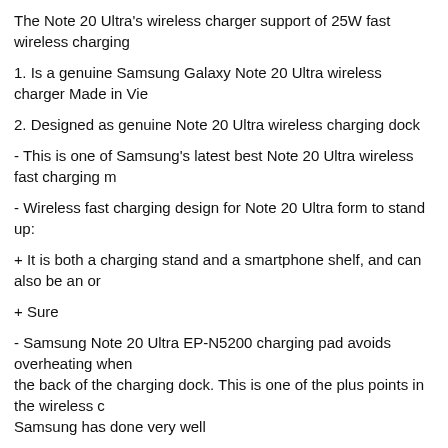The Note 20 Ultra's wireless charger support of 25W fast wireless charging
1. Is a genuine Samsung Galaxy Note 20 Ultra wireless charger Made in Vie
2. Designed as genuine Note 20 Ultra wireless charging dock
- This is one of Samsung's latest best Note 20 Ultra wireless fast charging m
- Wireless fast charging design for Note 20 Ultra form to stand up:
+ It is both a charging stand and a smartphone shelf, and can also be an or
+ Sure
- Samsung Note 20 Ultra EP-N5200 charging pad avoids overheating when the back of the charging dock. This is one of the plus points in the wireless c Samsung has done very well
Genuine Note 20 Ultra wireless charging dock
3. Fast charging Note 20 Ultra 25W capacity ensures full charge time Note 2
- Support Qi fast charging. Compatible with Samsung, Iphone, Huawei serie